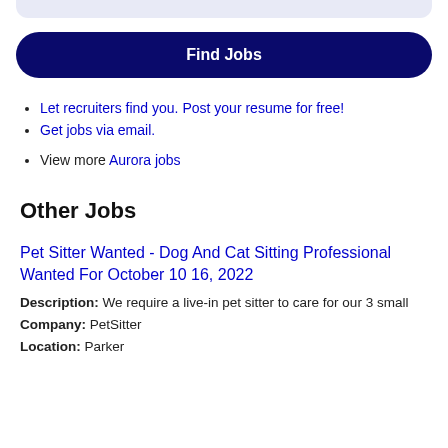[Figure (other): Top decorative rounded bar in light blue/lavender color]
Find Jobs
Let recruiters find you. Post your resume for free!
Get jobs via email.
View more Aurora jobs
Other Jobs
Pet Sitter Wanted - Dog And Cat Sitting Professional Wanted For October 10 16, 2022
Description: We require a live-in pet sitter to care for our 3 small
Company: PetSitter
Location: Parker